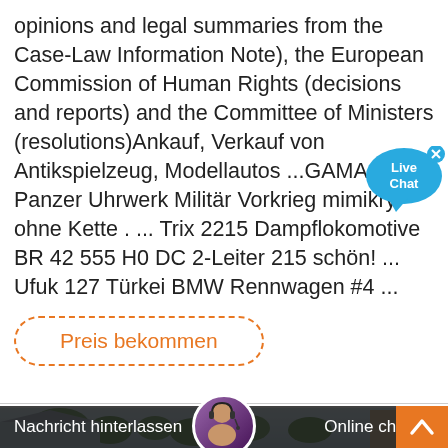opinions and legal summaries from the Case-Law Information Note), the European Commission of Human Rights (decisions and reports) and the Committee of Ministers (resolutions)Ankauf, Verkauf von Antikspielzeug, Modellautos ...GAMA T-59 Panzer Uhrwerk Militär Vorkrieg mimikry ohne Kette . ... Trix 2215 Dampflokomotive BR 42 555 H0 DC 2-Leiter 215 schön! ... Ufuk 127 Türkei BMW Rennwagen #4 ...
Preis bekommen
[Figure (photo): Outdoor scene with buildings and trees, blue sky background. Live Chat bubble overlay in upper right corner.]
Nachricht hinterlassen
Online chatten